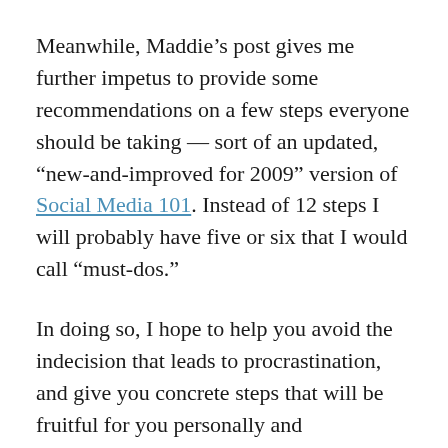Meanwhile, Maddie’s post gives me further impetus to provide some recommendations on a few steps everyone should be taking — sort of an updated, “new-and-improved for 2009” version of Social Media 101. Instead of 12 steps I will probably have five or six that I would call “must-dos.”
In doing so, I hope to help you avoid the indecision that leads to procrastination, and give you concrete steps that will be fruitful for you personally and professionally.
It’s a balancing act in which the inclination toward research as befits a global university (and one that is moving the …